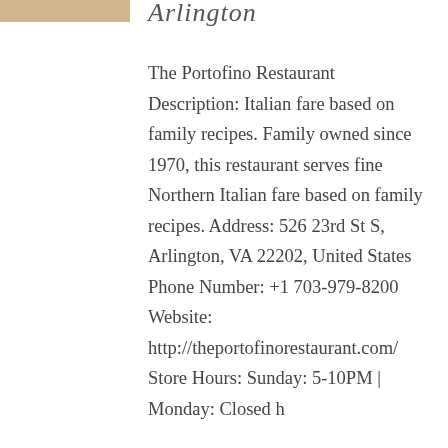[Figure (photo): Partial photo of food/restaurant image visible at top left corner]
Arlington
The Portofino Restaurant Description: Italian fare based on family recipes. Family owned since 1970, this restaurant serves fine Northern Italian fare based on family recipes. Address: 526 23rd St S, Arlington, VA 22202, United States Phone Number: +1 703-979-8200 Website: http://theportofinorestaurant.com/ Store Hours: Sunday: 5-10PM | Monday: Closed ...